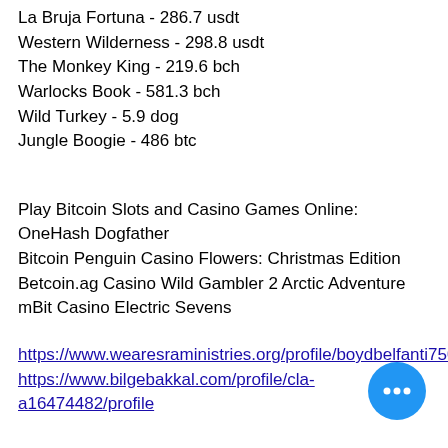La Bruja Fortuna - 286.7 usdt
Western Wilderness - 298.8 usdt
The Monkey King - 219.6 bch
Warlocks Book - 581.3 bch
Wild Turkey - 5.9 dog
Jungle Boogie - 486 btc
Play Bitcoin Slots and Casino Games Online:
OneHash Dogfather
Bitcoin Penguin Casino Flowers: Christmas Edition
Betcoin.ag Casino Wild Gambler 2 Arctic Adventure
mBit Casino Electric Sevens
https://www.wearesraministries.org/profile/boydbelfanti7504098/profile
https://www.bilgebakkal.com/profile/cla…a16474482/profile